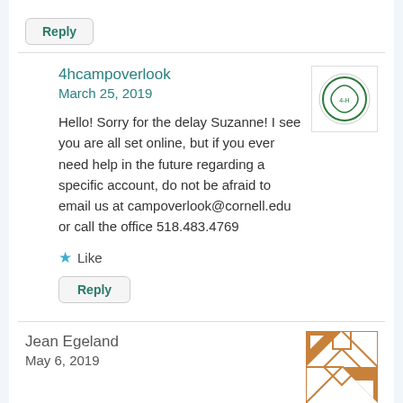Reply
4hcampoverlook
March 25, 2019
Hello! Sorry for the delay Suzanne! I see you are all set online, but if you ever need help in the future regarding a specific account, do not be afraid to email us at campoverlook@cornell.edu or call the office 518.483.4769
Like
Reply
Jean Egeland
May 6, 2019